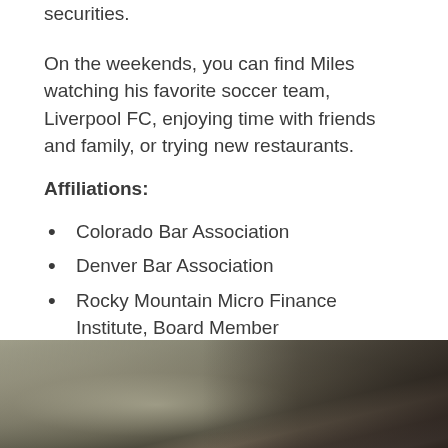securities.
On the weekends, you can find Miles watching his favorite soccer team, Liverpool FC, enjoying time with friends and family, or trying new restaurants.
Affiliations:
Colorado Bar Association
Denver Bar Association
Rocky Mountain Micro Finance Institute, Board Member
[Figure (photo): Blurred dark interior photo, possibly an office or hallway, with muted olive and dark brown tones.]